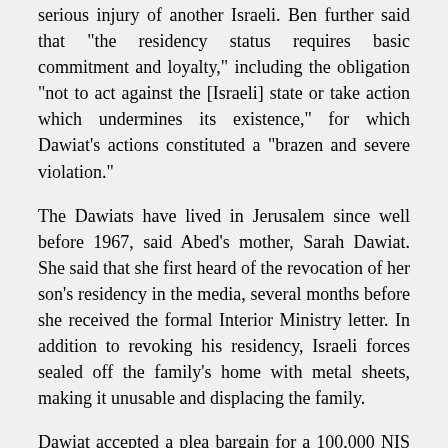serious injury of another Israeli. Ben further said that "the residency status requires basic commitment and loyalty," including the obligation "not to act against the [Israeli] state or take action which undermines its existence," for which Dawiat's actions constituted a "brazen and severe violation."
The Dawiats have lived in Jerusalem since well before 1967, said Abed's mother, Sarah Dawiat. She said that she first heard of the revocation of her son's residency in the media, several months before she received the formal Interior Ministry letter. In addition to revoking his residency, Israeli forces sealed off the family's home with metal sheets, making it unusable and displacing the family.
Dawiat accepted a plea bargain for a 100,000 NIS fine (US$2800) and an 18-year jail sentence, which he is serving in Nafha Prison. He has challenged his residency revocation in front of the High Court of Justice ; if that